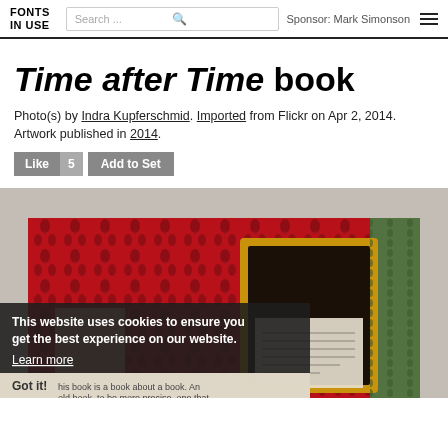FONTS IN USE | Search... | Sponsor: Mark Simonson
Time after Time book
Photo(s) by Indra Kupferschmid. Imported from Flickr on Apr 2, 2014. Artwork published in 2014.
Like 5 | Add to Set
[Figure (photo): Photo of a decorative book with red patterned cover featuring dark floral/leaf motifs, a gold ornamental frame on the spine, and a green patterned side spine. Inside the frame area is a page with text visible. Cookie consent banner overlaid at bottom.]
This website uses cookies to ensure you get the best experience on our website. Learn more Got it!